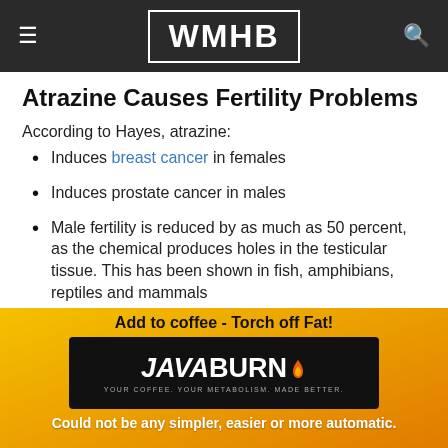WMHB
Atrazine Causes Fertility Problems
According to Hayes, atrazine:
Induces breast cancer in females
Induces prostate cancer in males
Male fertility is reduced by as much as 50 percent, as the chemical produces holes in the testicular tissue. This has been shown in fish, amphibians, reptiles and mammals
Retards mammary (breast) development in females
[Figure (advertisement): Java Burn advertisement banner with orange/yellow gradient background. Text: 'Add to coffee - Torch off Fat!' with Java Burn product packet image and tagline 'Could not be any simpler, easier or more automatic.']